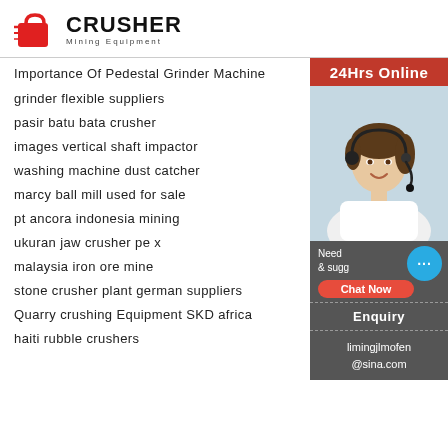[Figure (logo): Crusher Mining Equipment logo with red shopping bag icon and bold CRUSHER text]
Importance Of Pedestal Grinder Machine
grinder flexible suppliers
pasir batu bata crusher
images vertical shaft impactor
washing machine dust catcher
marcy ball mill used for sale
pt ancora indonesia mining
ukuran jaw crusher pe x
malaysia iron ore mine
stone crusher plant german suppliers
Quarry crushing Equipment SKD africa
haiti rubble crushers
[Figure (photo): 24Hrs Online sidebar with photo of smiling woman with headset, chat now button, Enquiry section, and limingjlmofen@sina.com email]